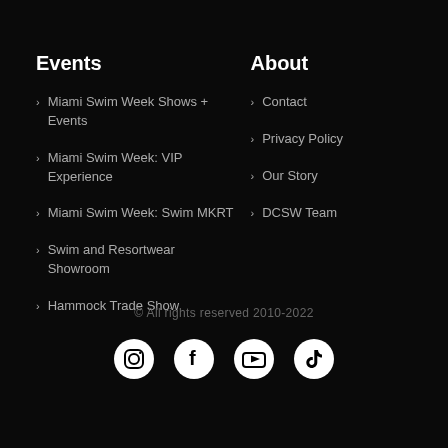Events
Miami Swim Week Shows + Events
Miami Swim Week: VIP Experience
Miami Swim Week: Swim MKRT
Swim and Resortwear Showroom
Hammock Trade Show
About
Contact
Privacy Policy
Our Story
DCSW Team
© All rights reserved 2010-2022
[Figure (infographic): Social media icons: Instagram, Facebook, YouTube, TikTok]